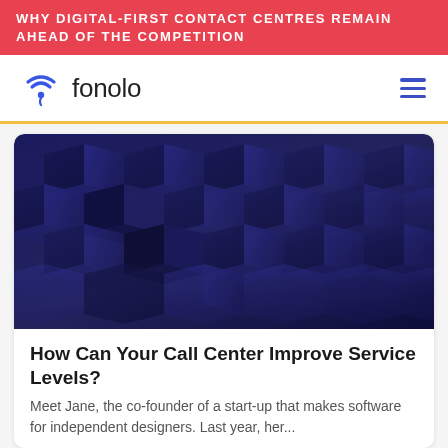WHY DIGITAL-FIRST CONTACT CENTRES REMAIN AHEAD OF THE COMPETITION
[Figure (logo): Fonolo logo: blue wifi/location icon with the word 'fonolo' in dark sans-serif, and a hamburger menu icon on the right]
[Figure (photo): Dark blue 3D geometric hexagonal/cube shapes arranged in a pattern, deep navy/indigo color palette]
How Can Your Call Center Improve Service Levels?
Meet Jane, the co-founder of a start-up that makes software for independent designers. Last year, her...